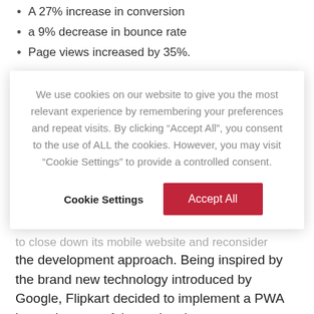A 27% increase in conversion
a 9% decrease in bounce rate
Page views increased by 35%.
We use cookies on our website to give you the most relevant experience by remembering your preferences and repeat visits. By clicking “Accept All”, you consent to the use of ALL the cookies. However, you may visit “Cookie Settings” to provide a controlled consent.
to close down its mobile website and reconsider the development approach. Being inspired by the brand new technology introduced by Google, Flipkart decided to implement a PWA becoming one of the early adopters.